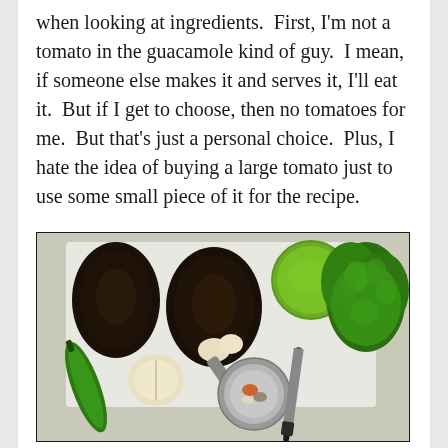when looking at ingredients.  First, I'm not a tomato in the guacamole kind of guy.  I mean, if someone else makes it and serves it, I'll eat it.  But if I get to choose, then no tomatoes for me.  But that's just a personal choice.  Plus, I hate the idea of buying a large tomato just to use some small piece of it for the recipe.
[Figure (photo): Overhead photo of guacamole ingredients on a cutting board: two dark avocados, a lime, a bunch of fresh cilantro, a jalapeño pepper, garlic cloves, a citrus press/juicer, a small round dish with spices (cumin, paprika, salt, pepper), and a kitchen knife.]